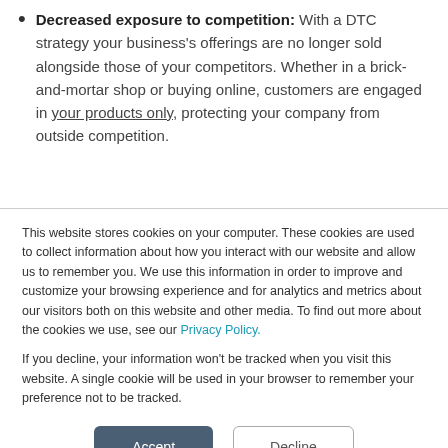Decreased exposure to competition: With a DTC strategy your business's offerings are no longer sold alongside those of your competitors. Whether in a brick-and-mortar shop or buying online, customers are engaged in your products only, protecting your company from outside competition.
This website stores cookies on your computer. These cookies are used to collect information about how you interact with our website and allow us to remember you. We use this information in order to improve and customize your browsing experience and for analytics and metrics about our visitors both on this website and other media. To find out more about the cookies we use, see our Privacy Policy.
If you decline, your information won't be tracked when you visit this website. A single cookie will be used in your browser to remember your preference not to be tracked.